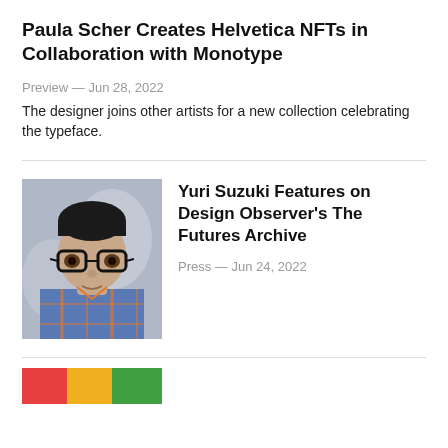Paula Scher Creates Helvetica NFTs in Collaboration with Monotype
Preview — Jun 28, 2022
The designer joins other artists for a new collection celebrating the typeface.
[Figure (photo): Portrait photo of Yuri Suzuki, a person wearing large round glasses and a plaid shirt, with a blurred background]
Yuri Suzuki Features on Design Observer's The Futures Archive
Press — Jun 24, 2022
[Figure (photo): Partially visible colorful image at the bottom of the page]